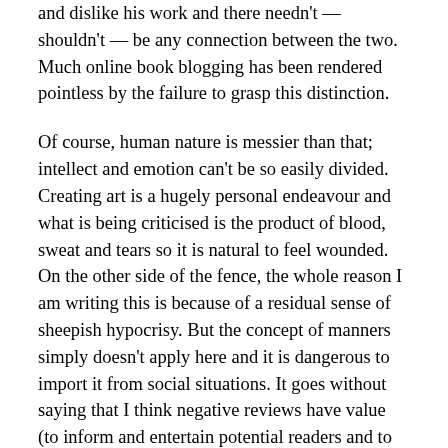and dislike his work and there needn't — shouldn't — be any connection between the two. Much online book blogging has been rendered pointless by the failure to grasp this distinction.
Of course, human nature is messier than that; intellect and emotion can't be so easily divided. Creating art is a hugely personal endeavour and what is being criticised is the product of blood, sweat and tears so it is natural to feel wounded. On the other side of the fence, the whole reason I am writing this is because of a residual sense of sheepish hypocrisy. But the concept of manners simply doesn't apply here and it is dangerous to import it from social situations. It goes without saying that I think negative reviews have value (to inform and entertain potential readers and to contribute to a wider discourse). It should also go without saying that criticising a professional